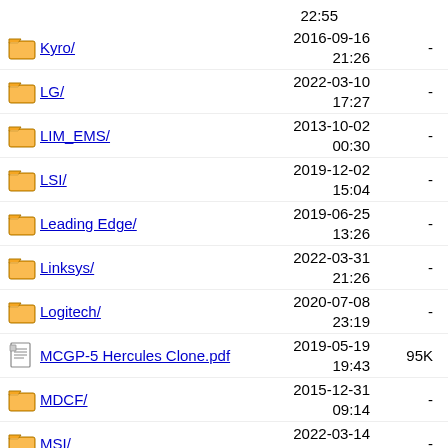22:55 (truncated top row)
Kyro/ 2016-09-16 21:26 -
LG/ 2022-03-10 17:27 -
LIM_EMS/ 2013-10-02 00:30 -
LSI/ 2019-12-02 15:04 -
Leading Edge/ 2019-06-25 13:26 -
Linksys/ 2022-03-31 21:26 -
Logitech/ 2020-07-08 23:19 -
MCGP-5 Hercules Clone.pdf 2019-05-19 19:43 95K
MDCF/ 2015-12-31 09:14 -
MSI/ 2022-03-14 17:57 -
MTM Scientific/ 2018-11-14 11:22 -